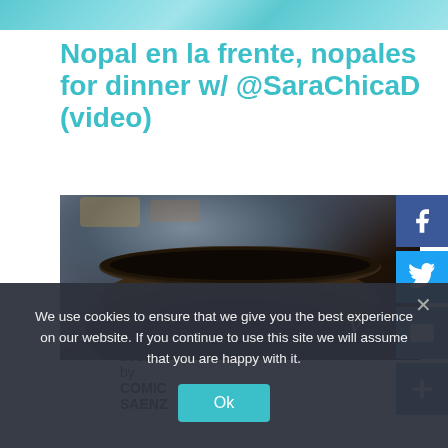Nopal en la frente, nopales for dinner w/ @SaraChicaD (video)
July 22, 2013 by COMIC SAENZ
[Figure (screenshot): Video thumbnail showing a dark cooking pot, appears to be a Vine video embed. Vine logo visible in lower right of thumbnail.]
We use cookies to ensure that we give you the best experience on our website. If you continue to use this site we will assume that you are happy with it.